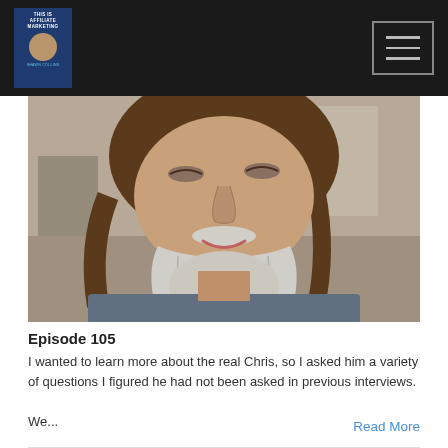THIS IS AFFILIATE MARKETING with Shawn Collins — navigation bar with logo and hamburger menu
[Figure (photo): Close-up selfie photo of a middle-aged man with long brown hair, grey-white beard and mustache, wearing a dark grey t-shirt. The photo shows his face and upper chest area against an indoor background.]
Episode 105
I wanted to learn more about the real Chris, so I asked him a variety of questions I figured he had not been asked in previous interviews.

We...
Read More